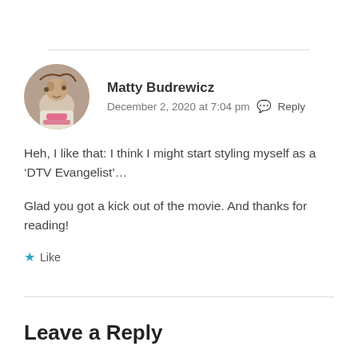Matty Budrewicz
December 2, 2020 at 7:04 pm · Reply
Heh, I like that: I think I might start styling myself as a ‘DTV Evangelist’...
Glad you got a kick out of the movie. And thanks for reading!
★ Like
Leave a Reply